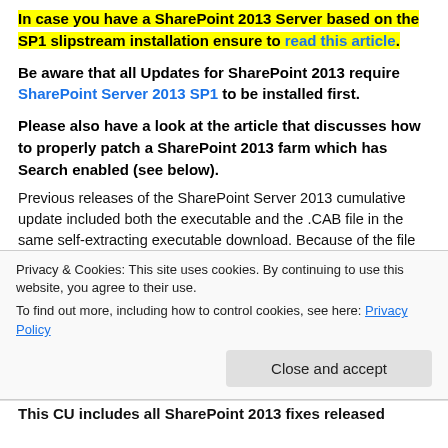In case you have a SharePoint 2013 Server based on the SP1 slipstream installation ensure to read this article.
Be aware that all Updates for SharePoint 2013 require SharePoint Server 2013 SP1 to be installed first.
Please also have a look at the article that discusses how to properly patch a SharePoint 2013 farm which has Search enabled (see below).
Previous releases of the SharePoint Server 2013 cumulative update included both the executable and the .CAB file in the same self-extracting executable download. Because of the file size, the SharePoint Server 2013 package has been divided into several separate downloads. One contains the executable file,
Privacy & Cookies: This site uses cookies. By continuing to use this website, you agree to their use.
To find out more, including how to control cookies, see here: Privacy Policy
Close and accept
This CU includes all SharePoint 2013 fixes released